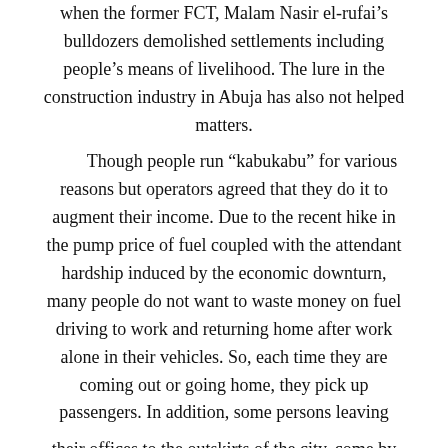when the former FCT, Malam Nasir el-rufai's bulldozers demolished settlements including people's means of livelihood. The lure in the construction industry in Abuja has also not helped matters. Though people run “kabukabu” for various reasons but operators agreed that they do it to augment their income. Due to the recent hike in the pump price of fuel coupled with the attendant hardship induced by the economic downturn, many people do not want to waste money on fuel driving to work and returning home after work alone in their vehicles. So, each time they are coming out or going home, they pick up passengers. In addition, some persons leaving their offices to the outskirts of the city, come by